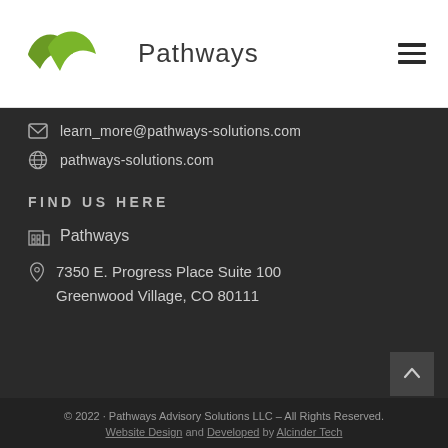[Figure (logo): Pathways logo with two green arrow/leaf shapes and the text 'Pathways' in dark grey]
learn_more@pathways-solutions.com
pathways-solutions.com
FIND US HERE
Pathways
7350 E. Progress Place Suite 100
Greenwood Village, CO 80111
© 2022 · Pathways Advisory Solutions LLC – All Rights Reserved.
Website Design and Developed by Alcinder Tech